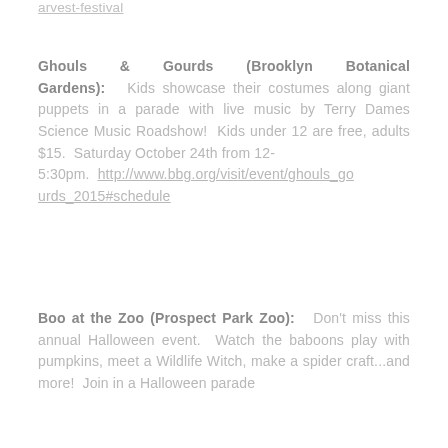arvest-festival
Ghouls & Gourds (Brooklyn Botanical Gardens): Kids showcase their costumes along giant puppets in a parade with live music by Terry Dames Science Music Roadshow! Kids under 12 are free, adults $15. Saturday October 24th from 12-5:30pm. http://www.bbg.org/visit/event/ghouls_gourds_2015#schedule
Boo at the Zoo (Prospect Park Zoo): Don't miss this annual Halloween event. Watch the baboons play with pumpkins, meet a Wildlife Witch, make a spider craft...and more! Join in a Halloween parade